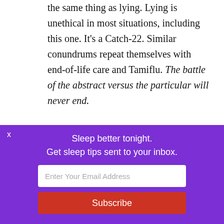the same thing as lying. Lying is unethical in most situations, including this one. It's a Catch-22. Similar conundrums repeat themselves with end-of-life care and Tamiflu. The battle of the abstract versus the particular will never end.
Separate psychic sensationalism from reality
In certain circles, when you say psychic, an
[Figure (other): Purple popup overlay with close button (x), text 'Sleep better tonight. Get sleep tips sent to your inbox.', email input field, and Subscribe button]